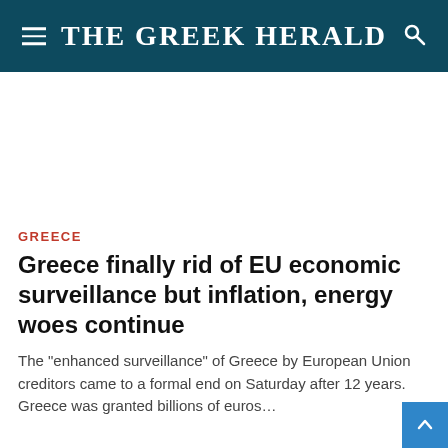THE GREEK HERALD
[Figure (other): Advertisement/blank white space area]
GREECE
Greece finally rid of EU economic surveillance but inflation, energy woes continue
The "enhanced surveillance" of Greece by European Union creditors came to a formal end on Saturday after 12 years. Greece was granted billions of euros...